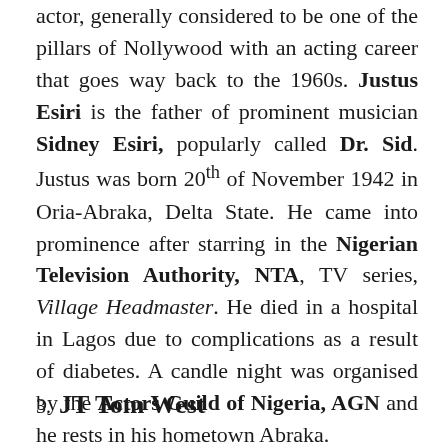actor, generally considered to be one of the pillars of Nollywood with an acting career that goes way back to the 1960s. Justus Esiri is the father of prominent musician Sidney Esiri, popularly called Dr. Sid. Justus was born 20th of November 1942 in Oria-Abraka, Delta State. He came into prominence after starring in the Nigerian Television Authority, NTA, TV series, Village Headmaster. He died in a hospital in Lagos due to complications as a result of diabetes. A candle night was organised by the Actors Guild of Nigeria, AGN and he rests in his hometown Abraka.
3. JT Tom West